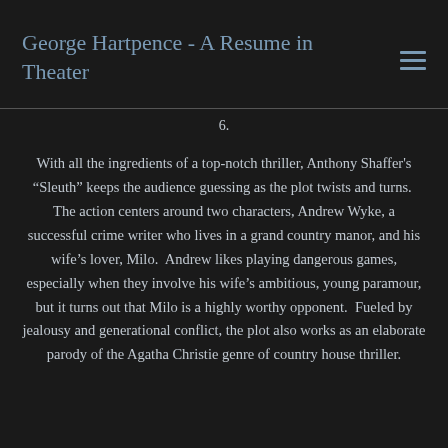George Hartpence - A Resume in Theater
6.
With all the ingredients of a top-notch thriller, Anthony Shaffer’s “Sleuth” keeps the audience guessing as the plot twists and turns.  The action centers around two characters, Andrew Wyke, a successful crime writer who lives in a grand country manor, and his wife’s lover, Milo.  Andrew likes playing dangerous games, especially when they involve his wife’s ambitious, young paramour, but it turns out that Milo is a highly worthy opponent.  Fueled by jealousy and generational conflict, the plot also works as an elaborate parody of the Agatha Christie genre of country house thriller.